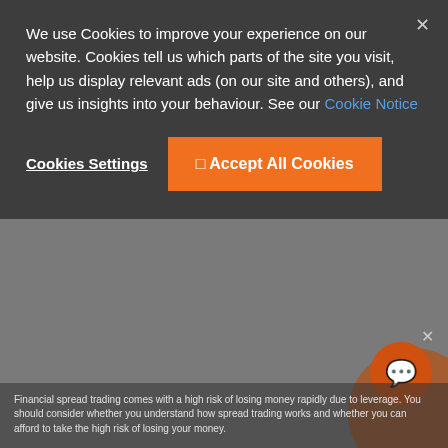We use Cookies to improve your experience on our website. Cookies tell us which parts of the site you visit, help us display relevant ads (on our site and others), and give us insights into your behaviour. See our Cookie Notice
Cookies Settings
Accept All Cookies
Financial spread trading comes with a high risk of losing money rapidly due to leverage. You should consider whether you understand how spread trading works and whether you can afford to take the high risk of losing your money.